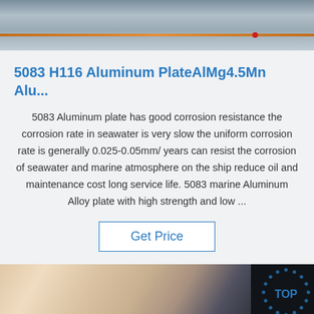[Figure (photo): Aerial or ground-level photo showing wire/cable lines stretched across a surface, with orange/copper colored wire visible]
5083 H116 Aluminum PlateAlMg4.5Mn Alu...
5083 Aluminum plate has good corrosion resistance the corrosion rate in seawater is very slow the uniform corrosion rate is generally 0.025-0.05mm/ years can resist the corrosion of seawater and marine atmosphere on the ship reduce oil and maintenance cost long service life. 5083 marine Aluminum Alloy plate with high strength and low ...
Get Price
[Figure (photo): Close-up photo of aluminum plate/sheet material showing metallic surface, with packaging visible on the right side and a circular logo/watermark in the top right corner]